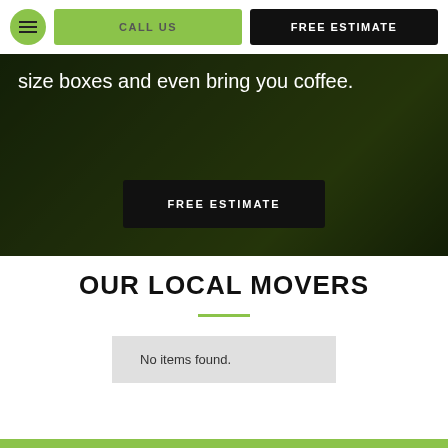CALL US | FREE ESTIMATE
size boxes and even bring you coffee.
FREE ESTIMATE
OUR LOCAL MOVERS
No items found.